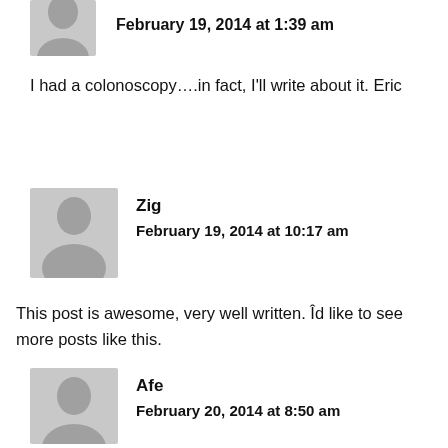[Figure (illustration): Gray placeholder avatar icon (person silhouette), partially cropped at top]
February 19, 2014 at 1:39 am
I had a colonoscopy….in fact, I'll write about it. Eric
[Figure (illustration): Gray placeholder avatar icon (person silhouette)]
Zig
February 19, 2014 at 10:17 am
This post is awesome, very well written. Îd like to see more posts like this.
[Figure (illustration): Gray placeholder avatar icon (person silhouette)]
Afe
February 20, 2014 at 8:50 am
Good work, impressed by your website. I had no trouble navigating through the tabs. Nice